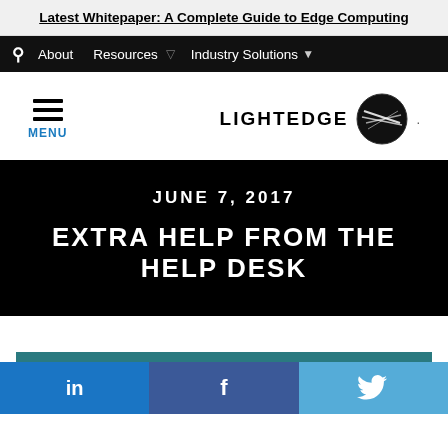Latest Whitepaper: A Complete Guide to Edge Computing
About  Resources  Industry Solutions
[Figure (logo): LightEdge logo with stylized globe icon and text LIGHTEDGE, plus hamburger menu with MENU label]
JUNE 7, 2017
EXTRA HELP FROM THE HELP DESK
[Figure (infographic): Social share bar with LinkedIn, Facebook, and Twitter icons]